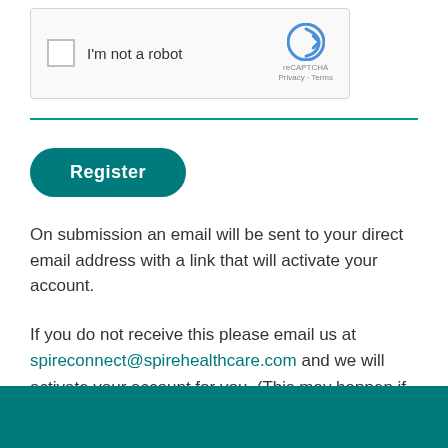[Figure (other): reCAPTCHA widget with checkbox labeled 'I'm not a robot' and Google reCAPTCHA logo with Privacy and Terms links]
[Figure (other): Register button - teal rounded button with white text]
On submission an email will be sent to your direct email address with a link that will activate your account.
If you do not receive this please email us at spireconnect@spirehealthcare.com and we will activate your account for you. (This may happen if you use a nhs.uk email account.)
Footer bar teal